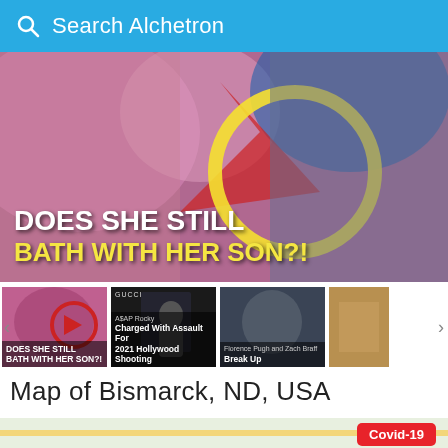Search Alchetron
[Figure (photo): Clickbait advertisement banner: 'DOES SHE STILL BATH WITH HER SON?!' with women's photos]
[Figure (screenshot): Thumbnail strip showing four news/clickbait thumbnails: 'DOES SHE STILL BATH WITH HER SON?!', 'A$AP Rocky Charged With Assault For 2021 Hollywood Shooting', 'Florence Pugh and Zach Braff Break Up', and a fourth partially visible]
Map of Bismarck, ND, USA
[Figure (map): Google Map of Bismarck, ND, USA showing interstate highways 94, 83, 194, Missouri River on the left, North Dakota Heritage Center & State Museum marker, with a Covid-19 badge overlay in the bottom right]